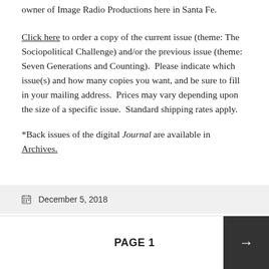owner of Image Radio Productions here in Santa Fe.
Click here to order a copy of the current issue (theme: The Sociopolitical Challenge) and/or the previous issue (theme: Seven Generations and Counting).  Please indicate which issue(s) and how many copies you want, and be sure to fill in your mailing address.  Prices may vary depending upon the size of a specific issue.  Standard shipping rates apply.
*Back issues of the digital Journal are available in Archives.
December 5, 2018
PAGE 1